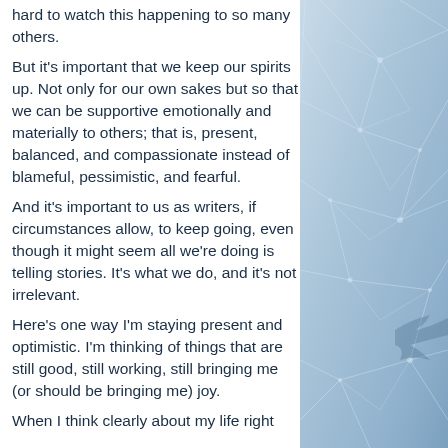hard to watch this happening to so many others.
But it's important that we keep our spirits up. Not only for our own sakes but so that we can be supportive emotionally and materially to others; that is, present, balanced, and compassionate instead of blameful, pessimistic, and fearful.
And it's important to us as writers, if circumstances allow, to keep going, even though it might seem all we're doing is telling stories. It's what we do, and it's not irrelevant.
Here's one way I'm staying present and optimistic. I'm thinking of things that are still good, still working, still bringing me (or should be bringing me) joy.
When I think clearly about my life right
[Figure (photo): Right side decorative background photo showing light blue and white abstract web/network pattern resembling frost or ice crystal web structure on a blue background.]